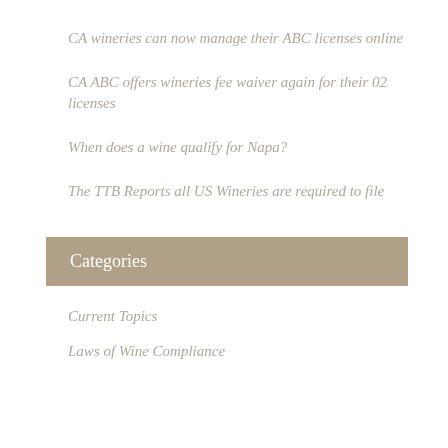CA wineries can now manage their ABC licenses online
CA ABC offers wineries fee waiver again for their 02 licenses
When does a wine qualify for Napa?
The TTB Reports all US Wineries are required to file
Categories
Current Topics
Laws of Wine Compliance